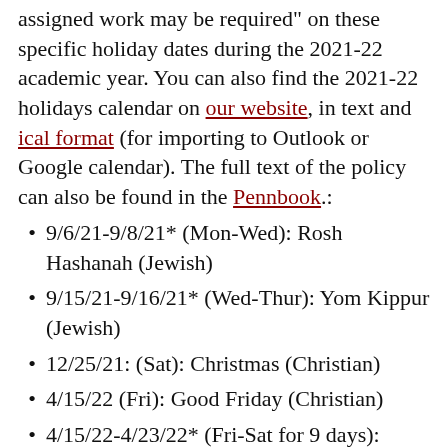assigned work may be required" on these specific holiday dates during the 2021-22 academic year. You can also find the 2021-22 holidays calendar on our website, in text and ical format (for importing to Outlook or Google calendar). The full text of the policy can also be found in the Pennbook.:
9/6/21-9/8/21* (Mon-Wed): Rosh Hashanah (Jewish)
9/15/21-9/16/21* (Wed-Thur): Yom Kippur (Jewish)
12/25/21: (Sat): Christmas (Christian)
4/15/22 (Fri): Good Friday (Christian)
4/15/22-4/23/22* (Fri-Sat for 9 days): Passover (Jewish). No exams or assigned work may be required from